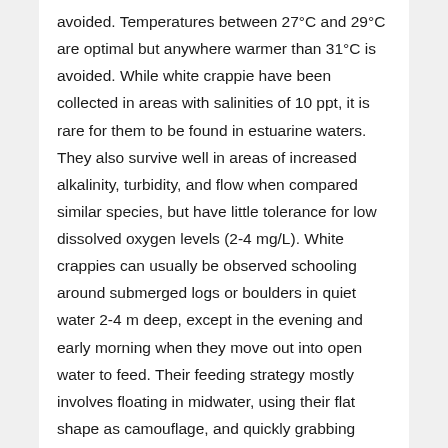avoided. Temperatures between 27°C and 29°C are optimal but anywhere warmer than 31°C is avoided. While white crappie have been collected in areas with salinities of 10 ppt, it is rare for them to be found in estuarine waters. They also survive well in areas of increased alkalinity, turbidity, and flow when compared similar species, but have little tolerance for low dissolved oxygen levels (2-4 mg/L). White crappies can usually be observed schooling around submerged logs or boulders in quiet water 2-4 m deep, except in the evening and early morning when they move out into open water to feed. Their feeding strategy mostly involves floating in midwater, using their flat shape as camouflage, and quickly grabbing everything that they can using their protruding jaw and short gill rakers. This adaptation allows them a diversity of prey items, most commonly planktonic crustaceans and small fish, but also aquatic insects when available. Zooplankton are especially important for younger white